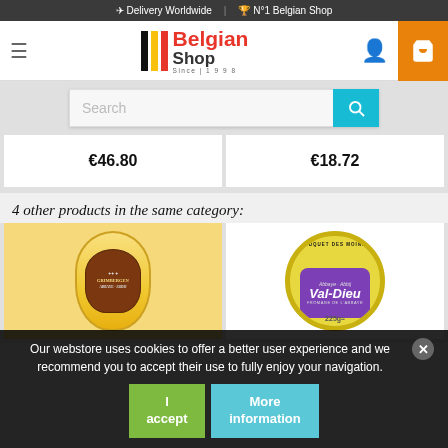✈ Delivery Worldwide | 🏆 N°1 Belgian Shop
[Figure (logo): Belgian Shop logo with colored vertical bars (black, yellow, red) and text 'Belgian Shop Since 1998']
[Figure (other): Search bar with placeholder 'Search' and teal search button]
€46.80
€18.72
4 other products in the same category:
[Figure (photo): Grimbergen branded cheese product with yellow wax coating and brown abbey label]
[Figure (photo): Bouquet des Moines Val-Dieu cheese 225g with green and yellow circular label and purple Val-Dieu branding]
Our webstore uses cookies to offer a better user experience and we recommend you to accept their use to fully enjoy your navigation.